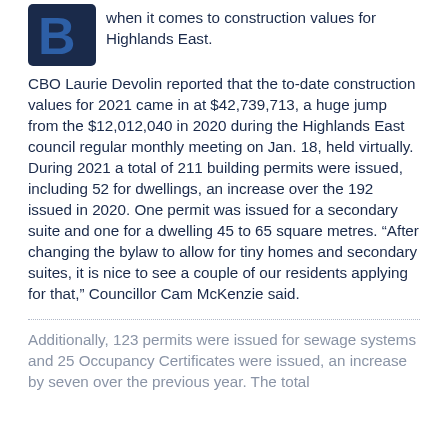[Figure (logo): Dark blue square logo/icon, partially visible at top left]
when it comes to construction values for Highlands East.
CBO Laurie Devolin reported that the to-date construction values for 2021 came in at $42,739,713, a huge jump from the $12,012,040 in 2020 during the Highlands East council regular monthly meeting on Jan. 18, held virtually. During 2021 a total of 211 building permits were issued, including 52 for dwellings, an increase over the 192 issued in 2020. One permit was issued for a secondary suite and one for a dwelling 45 to 65 square metres. “After changing the bylaw to allow for tiny homes and secondary suites, it is nice to see a couple of our residents applying for that,” Councillor Cam McKenzie said.
Additionally, 123 permits were issued for sewage systems and 25 Occupancy Certificates were issued, an increase by seven over the previous year. The total